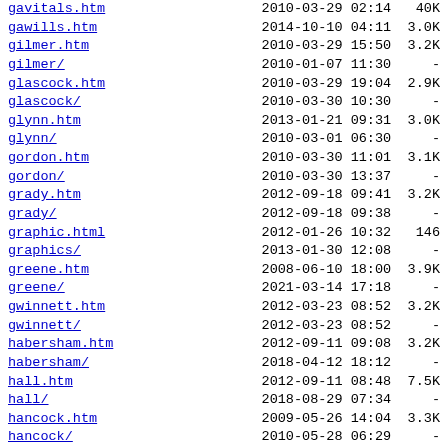| Name | Date | Size |
| --- | --- | --- |
| gavitals.htm | 2010-03-29 02:14 | 40K |
| gawills.htm | 2014-10-10 04:11 | 3.0K |
| gilmer.htm | 2010-03-29 15:50 | 3.2K |
| gilmer/ | 2010-01-07 11:30 | - |
| glascock.htm | 2010-03-29 19:04 | 2.9K |
| glascock/ | 2010-03-30 10:30 | - |
| glynn.htm | 2013-01-21 09:31 | 3.0K |
| glynn/ | 2010-03-01 06:30 | - |
| gordon.htm | 2010-03-30 11:01 | 3.1K |
| gordon/ | 2010-03-30 13:37 | - |
| grady.htm | 2012-09-18 09:41 | 3.2K |
| grady/ | 2012-09-18 09:38 | - |
| graphic.html | 2012-01-26 10:32 | 146 |
| graphics/ | 2013-01-30 12:08 | - |
| greene.htm | 2008-06-10 18:00 | 3.9K |
| greene/ | 2021-03-14 17:18 | - |
| gwinnett.htm | 2012-03-23 08:52 | 3.2K |
| gwinnett/ | 2012-03-23 08:52 | - |
| habersham.htm | 2012-09-11 09:08 | 3.2K |
| habersham/ | 2018-04-12 18:12 | - |
| hall.htm | 2012-09-11 08:48 | 7.5K |
| hall/ | 2018-08-29 07:34 | - |
| hancock.htm | 2009-05-26 14:04 | 3.3K |
| hancock/ | 2010-05-28 06:29 | - |
| haralson.htm | 2010-05-26 08:17 | 3.2K |
| haralson/ | 2013-01-28 06:39 | - |
| harris.htm | 2011-01-11 16:44 | 3.2K |
| harris/ | 2016-04-13 05:55 | - |
| hart.htm | 2009-12-02 14:43 | 2.9K |
| hart/ | 2010-08-11 21:33 | - |